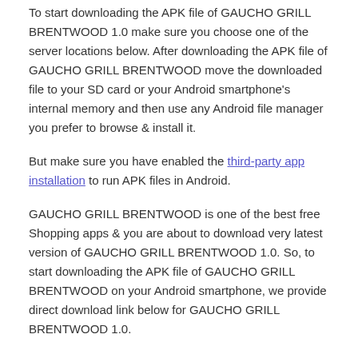To start downloading the APK file of GAUCHO GRILL BRENTWOOD 1.0 make sure you choose one of the server locations below. After downloading the APK file of GAUCHO GRILL BRENTWOOD move the downloaded file to your SD card or your Android smartphone's internal memory and then use any Android file manager you prefer to browse & install it.
But make sure you have enabled the third-party app installation to run APK files in Android.
GAUCHO GRILL BRENTWOOD is one of the best free Shopping apps & you are about to download very latest version of GAUCHO GRILL BRENTWOOD 1.0. So, to start downloading the APK file of GAUCHO GRILL BRENTWOOD on your Android smartphone, we provide direct download link below for GAUCHO GRILL BRENTWOOD 1.0.